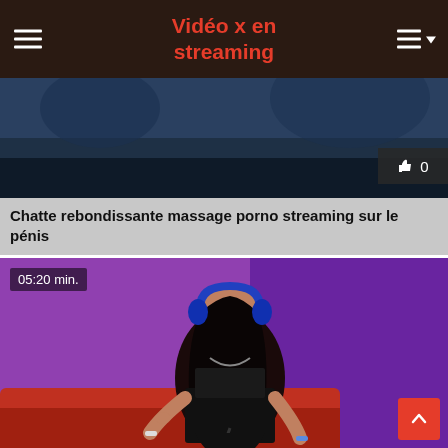Vidéo x en streaming
[Figure (screenshot): Dark video thumbnail at top, partially visible]
👍 0
Chatte rebondissante massage porno streaming sur le pénis
[Figure (photo): Woman with headphones sitting on red couch, purple background, duration badge 05:20 min.]
05:20 min.